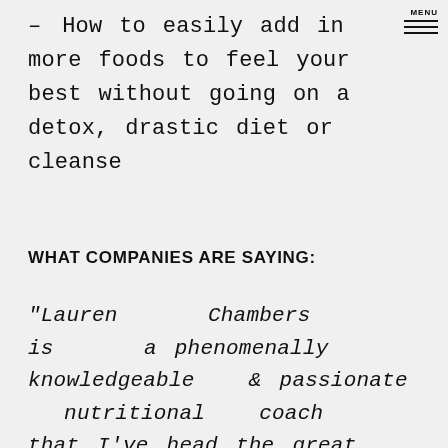– How to easily add in more foods to feel your best without going on a detox, drastic diet or cleanse
WHAT COMPANIES ARE SAYING:
“Lauren Chambers is a phenomenally knowledgeable & passionate nutritional coach that I’ve head the great privilege to work